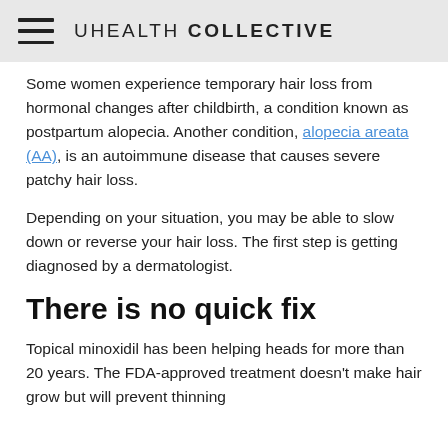UHEALTH COLLECTIVE
Some women experience temporary hair loss from hormonal changes after childbirth, a condition known as postpartum alopecia. Another condition, alopecia areata (AA), is an autoimmune disease that causes severe patchy hair loss.
Depending on your situation, you may be able to slow down or reverse your hair loss. The first step is getting diagnosed by a dermatologist.
There is no quick fix
Topical minoxidil has been helping heads for more than 20 years. The FDA-approved treatment doesn't make hair grow but will prevent thinning